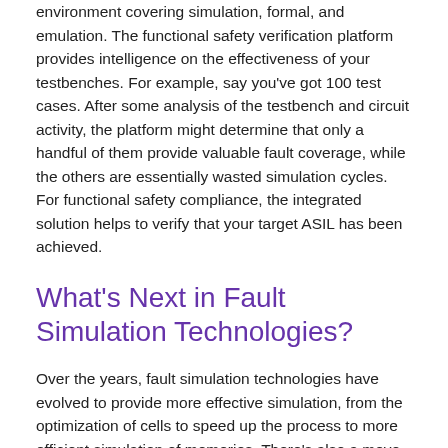environment covering simulation, formal, and emulation. The functional safety verification platform provides intelligence on the effectiveness of your testbenches. For example, say you've got 100 test cases. After some analysis of the testbench and circuit activity, the platform might determine that only a handful of them provide valuable fault coverage, while the others are essentially wasted simulation cycles. For functional safety compliance, the integrated solution helps to verify that your target ASIL has been achieved.
What's Next in Fault Simulation Technologies?
Over the years, fault simulation technologies have evolved to provide more effective simulation, from the optimization of cells to speed up the process to more efficient simulation of memories. There's also a move now toward different fault models. Synopsys technologies inject model-based faults, designed to inject the real faults. As chip operation...